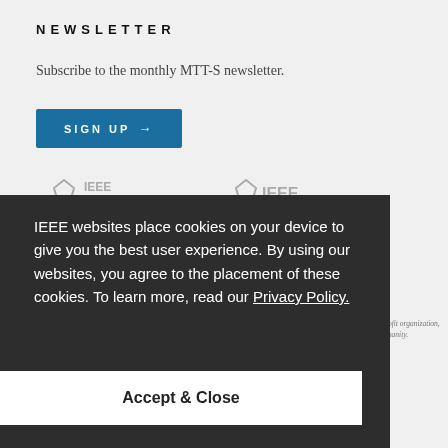NEWSLETTER
Subscribe to the monthly MTT-S newsletter.
SIGN UP →
[Figure (logo): IEEE Collabratec logo (grey)]
[Figure (logo): IEEE logo (grey)]
IEEE websites place cookies on your device to give you the best user experience. By using our websites, you agree to the placement of these cookies. To learn more, read our Privacy Policy.
Accept & Close
© 2024 IEEE. The right-of-cookies disclosure signifies your agreement to the IEEE Terms and Conditions. A not-for-profit organization, IEEE is the world's largest technical professional organization dedicated to advancing technology for the benefit of humanity.
Web design by agency